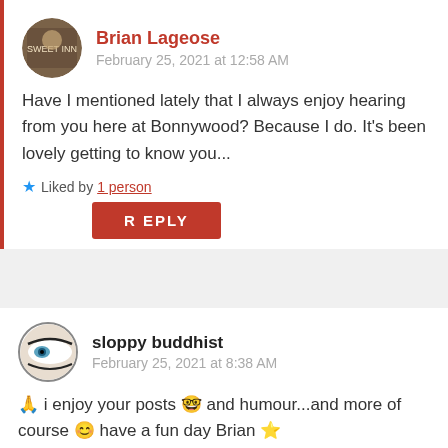Brian Lageose
February 25, 2021 at 12:58 AM
Have I mentioned lately that I always enjoy hearing from you here at Bonnywood? Because I do. It’s been lovely getting to know you...
★ Liked by 1 person
REPLY
sloppy buddhist
February 25, 2021 at 8:38 AM
🙏 i enjoy your posts 🤓 and humour...and more of course 😊 have a fun day Brian ⭐